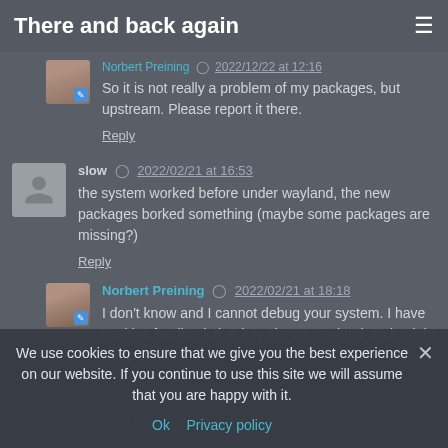There and back again
So it is not really a problem of my packages, but upstream. Please report it there.
Reply
slow  2022/02/21 at 16:53
the system worked before under wayland, the new packages borked something (maybe some packages are missing?)
Reply
Norbert Preining  2022/02/21 at 18:18
I don't know and I cannot debug your system. I have positive feedback that it works on wayland, so it might be specific to your setup.
available. But my guess is that Plasma 5.23 will work even less with Wayland.
We use cookies to ensure that we give you the best experience on our website. If you continue to use this site we will assume that you are happy with it.
Ok  Privacy policy